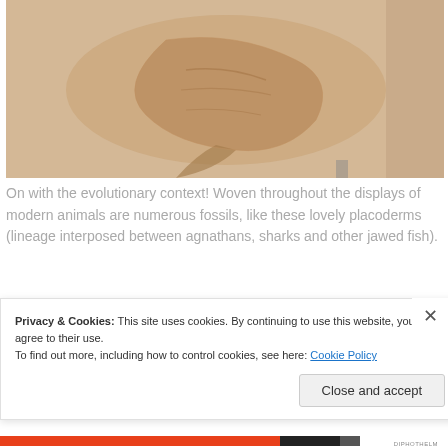[Figure (photo): Fossil specimen of a placoderm fish embedded in a pale sandy/tan rock matrix, showing the body outline and features of the ancient fish from above.]
On with the evolutionary context! Woven throughout the displays of modern animals are numerous fossils, like these lovely placoderms (lineage interposed between agnathans, sharks and other jawed fish).
[Figure (photo): Partial view of another fossil or museum display, mostly obscured by the cookie consent banner. Bottom of image shows a red and black color bar strip.]
Privacy & Cookies: This site uses cookies. By continuing to use this website, you agree to their use.
To find out more, including how to control cookies, see here: Cookie Policy
Close and accept